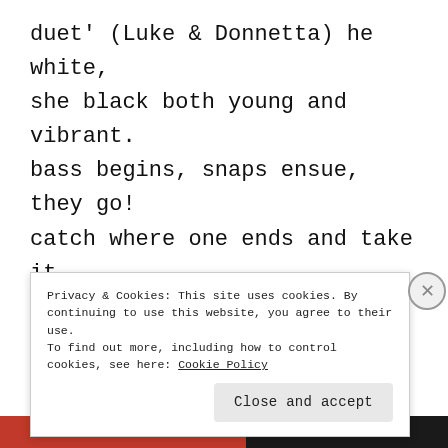duet' (Luke & Donnetta) he white, she black both young and vibrant. bass begins, snaps ensue, they go! catch where one ends and take it somewhere else, dazzling footwork (hers),how he lays into a step. summertime  and the livin is easy floats inside the musical
Privacy & Cookies: This site uses cookies. By continuing to use this website, you agree to their use. To find out more, including how to control cookies, see here: Cookie Policy
Close and accept